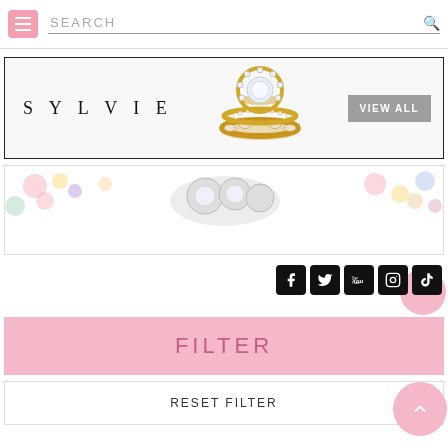SEARCH
[Figure (illustration): Sylvie jewelry advertisement banner showing gold diamond rings and 'SYLVIE' brand name with 'VIEW ALL' button]
[Figure (photo): Partial view of jewelry/rings on decorative floral background]
[Figure (infographic): Social media icons row: Facebook, Twitter, YouTube, Instagram, TikTok]
FILTER
RESET FILTER